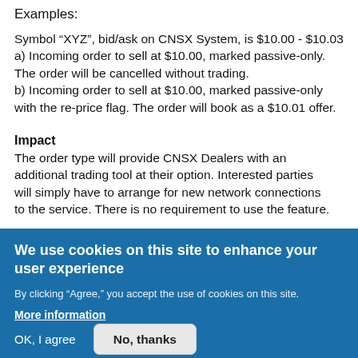Examples:
Symbol “XYZ”, bid/ask on CNSX System, is $10.00 - $10.03
a) Incoming order to sell at $10.00, marked passive-only. The order will be cancelled without trading.
b) Incoming order to sell at $10.00, marked passive-only with the re-price flag. The order will book as a $10.01 offer.
Impact
The order type will provide CNSX Dealers with an additional trading tool at their option. Interested parties will simply have to arrange for new network connections to the service. There is no requirement to use the feature.
We use cookies on this site to enhance your user experience
By clicking “Agree,” you accept the use of cookies on this site.
More information
OK, I agree
No, thanks